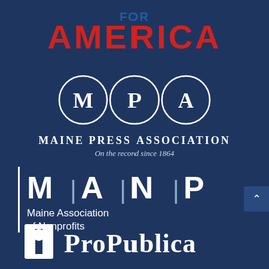[Figure (logo): FOR AMERICA logo with 'FOR' in blue and 'AMERICA' in bold red capital letters]
[Figure (logo): Maine Press Association (MPA) logo with three circles containing letters M, P, A and tagline 'On the record since 1864']
[Figure (logo): Maine Association of Nonprofits (MANP) logo with large letters M|A|N|P separated by vertical lines and full name below]
[Figure (logo): ProPublica logo with stylized P icon and bold 'PROPUBLICA' text in white]